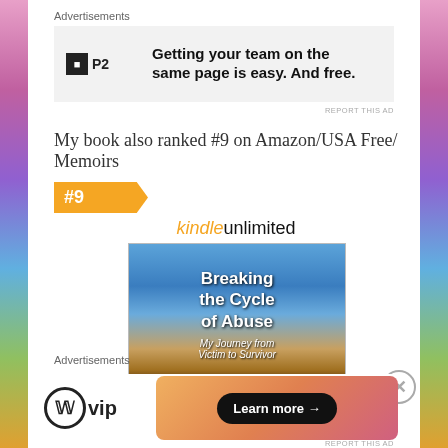Advertisements
[Figure (other): P2 advertisement banner: logo with black square icon and 'P2' text, tagline 'Getting your team on the same page is easy. And free.']
My book also ranked #9 on Amazon/USA Free/ Memoirs
[Figure (other): Orange badge with '#9' rank indicator]
[Figure (other): Kindle Unlimited book cover for 'Breaking the Cycle of Abuse: My Journey from Victim to Survivor']
Advertisements
[Figure (other): WordPress VIP advertisement with logo and 'Learn more' button]